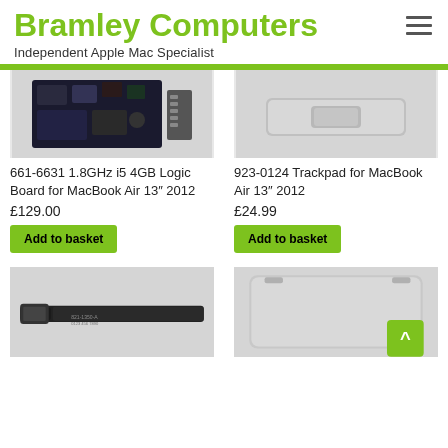Bramley Computers
Independent Apple Mac Specialist
[Figure (photo): Logic board for MacBook Air 13 inch 2012]
661-6631 1.8GHz i5 4GB Logic Board for MacBook Air 13″ 2012
£129.00
Add to basket
[Figure (photo): Trackpad silver component for MacBook Air 13 inch 2012]
923-0124 Trackpad for MacBook Air 13″ 2012
£24.99
Add to basket
[Figure (photo): Flex cable/ribbon cable part for MacBook]
[Figure (photo): Trackpad silver for MacBook]